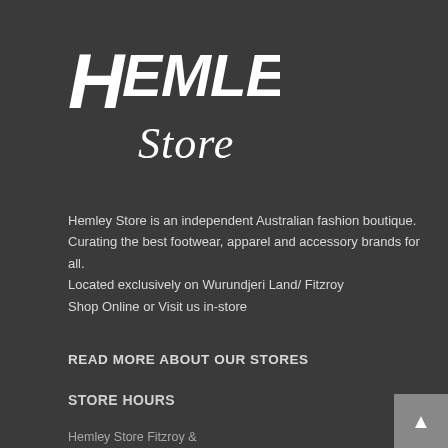[Figure (logo): Hemley Store logo in white on dark background, stylized text with 'HEMLEY' in bold block letters and 'Store' in cursive script below]
Hemley Store is an independent Australian fashion boutique.
Curating the best footwear, apparel and accessory brands for all.
Located exclusively on Wurundjeri Land/ Fitzroy
Shop Online or Visit us in-store
READ MORE ABOUT OUR STORES
STORE HOURS
Hemley Store Fitzroy &
Hemley Skateboarding
Monday - Saturday:
10:00am - 6:00pm.
Sunday: 11:00am - 5:30pm.